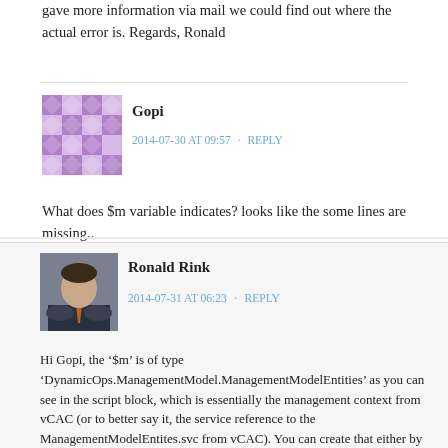gave more information via mail we could find out where the actual error is. Regards, Ronald
Gopi
2014-07-30 AT 09:57 · REPLY
What does $m variable indicates? looks like the some lines are missing..
Ronald Rink
2014-07-31 AT 06:23 · REPLY
Hi Gopi, the '$m' is of type 'DynamicOps.ManagementModel.ManagementModelEntities' as you can see in the script block, which is essentially the management context from vCAC (or to better say it, the service reference to the ManagementModelEntites.svc from vCAC). You can create that either by adding manually a 'Add-Type -Path ' or just use our vCAC PowerShell module which you can download at: https://d-fens.ch/2014/05/20/biz-dfch-ps-vcac-utilities-powershell-module-available/. For a further explanation of the MgmtContext you can have a look at 'https://d...